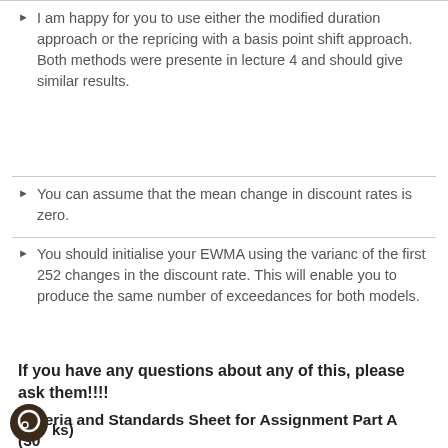I am happy for you to use either the modified duration approach or the repricing with a basis point shift approach. Both methods were presented in lecture 4 and should give similar results.
You can assume that the mean change in discount rates is zero.
You should initialise your EWMA using the variance of the first 252 changes in the discount rate. This will enable you to produce the same number of exceedances for both models.
If you have any questions about any of this, please ask them!!!!
Criteria and Standards Sheet for Assignment Part A (30 marks)